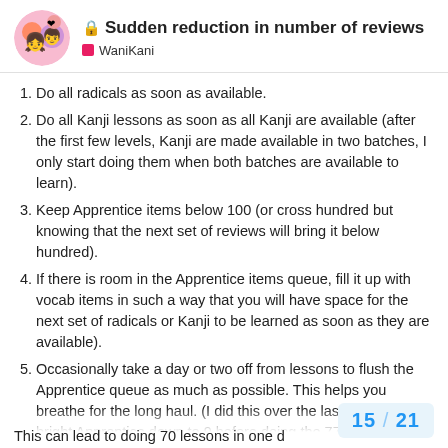🔒 Sudden reduction in number of reviews — WaniKani
Do all radicals as soon as available.
Do all Kanji lessons as soon as all Kanji are available (after the first few levels, Kanji are made available in two batches, I only start doing them when both batches are available to learn).
Keep Apprentice items below 100 (or cross hundred but knowing that the next set of reviews will bring it below hundred).
If there is room in the Apprentice items queue, fill it up with vocab items in such a way that you will have space for the next set of radicals or Kanji to be learned as soon as they are available).
Occasionally take a day or two off from lessons to flush the Apprentice queue as much as possible. This helps you breathe for the long haul. (I did this over the last two days and bright Apprentice down to 9 before doing the 77 lessons I had available).
This can lead to doing 70 lessons in one d
15 / 21